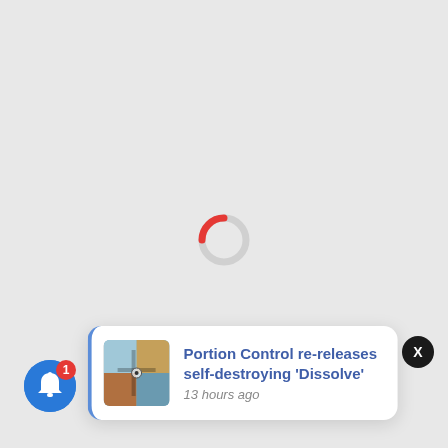[Figure (other): Circular loading spinner with red arc on left side and light gray arc on right side, centered on the page]
[Figure (other): Dark circular close button with white X, positioned at top-right of notification area]
[Figure (screenshot): Notification card with album art thumbnail, title 'Portion Control re-releases self-destroying Dissolve', timestamp '13 hours ago', blue left border]
[Figure (other): Blue circular bell notification button with red badge showing count 1, bottom-left corner]